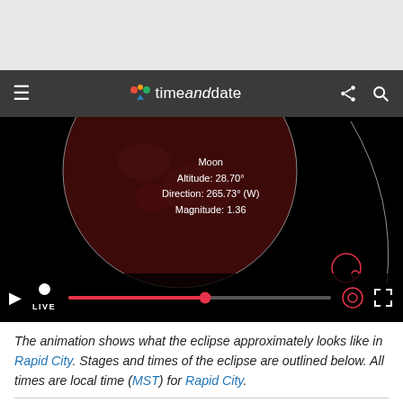[Figure (screenshot): timeanddate.com website screenshot showing a lunar eclipse animation with navigation bar, video player with Moon details overlay (Moon, Altitude: 28.70°, Direction: 265.73° (W), Magnitude: 1.36), video controls with LIVE indicator and progress bar]
The animation shows what the eclipse approximately looks like in Rapid City. Stages and times of the eclipse are outlined below. All times are local time (MST) for Rapid City.
Times, Phases, and Events